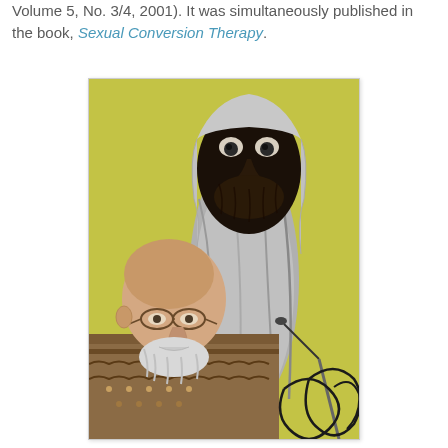Volume 5, No. 3/4, 2001). It was simultaneously published in the book, Sexual Conversion Therapy.
[Figure (photo): A man with glasses and a white/grey beard wearing a patterned sweater stands at a podium with a microphone. Behind him is a large dark-faced sculptural or puppet figure with a beard, draped in white/grey fabric, set against a yellow-green wall.]